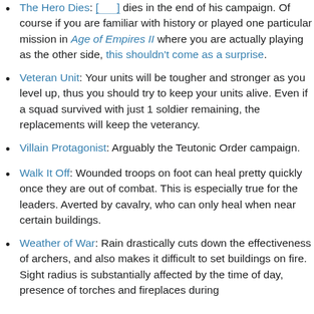The Hero Dies: [dotted link] dies in the end of his campaign. Of course if you are familiar with history or played one particular mission in Age of Empires II where you are actually playing as the other side, this shouldn't come as a surprise.
Veteran Unit: Your units will be tougher and stronger as you level up, thus you should try to keep your units alive. Even if a squad survived with just 1 soldier remaining, the replacements will keep the veterancy.
Villain Protagonist: Arguably the Teutonic Order campaign.
Walk It Off: Wounded troops on foot can heal pretty quickly once they are out of combat. This is especially true for the leaders. Averted by cavalry, who can only heal when near certain buildings.
Weather of War: Rain drastically cuts down the effectiveness of archers, and also makes it difficult to set buildings on fire. Sight radius is substantially affected by the time of day, presence of torches and fireplaces during...